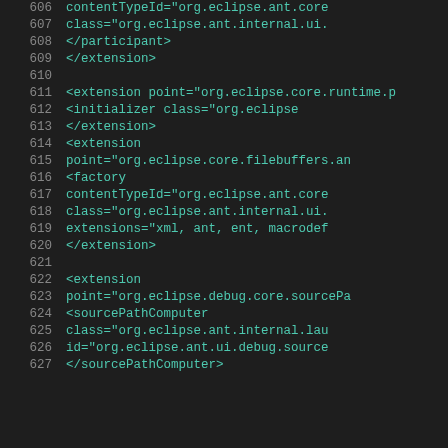[Figure (screenshot): Source code screenshot showing XML plugin extension configuration for Eclipse, lines 606-626, dark background IDE theme with green monospace code]